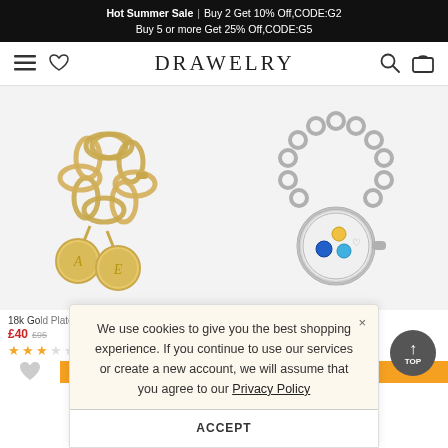Hot Summer Sale | Buy 2 Get 10% Off,CODE:G2 Buy 5 or more Get 25% Off,CODE:G5
[Figure (logo): DRAWELRY jewelry website navigation bar with hamburger menu, heart icon, brand name DRAWELRY, search and cart icons]
[Figure (photo): Left product: 18k gold plated silver charm bracelet with two circular disc charms engraved with letters. Right product: Platinum plated silver locket bracelet with colorful gemstones inside round locket.]
18k Gold Plated Silver
Platinum Plated Silver
£40  £95
£1.00
3Reviews)
We use cookies to give you the best shopping experience. If you continue to use our services or create a new account, we will assume that you agree to our Privacy Policy
ACCEPT